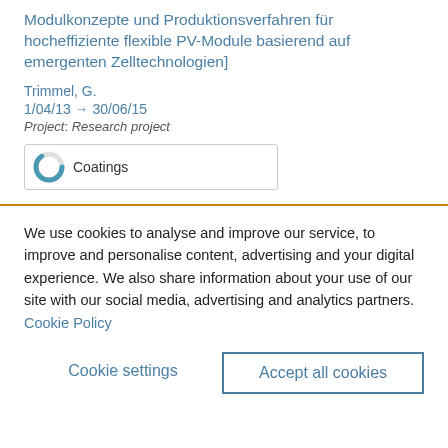Modulkonzepte und Produktionsverfahren für hocheffiziente flexible PV-Module basierend auf emergenten Zelltechnologien]
Trimmel, G.
1/04/13 → 30/06/15
Project: Research project
[Figure (other): Circular donut-style badge icon in teal/blue showing approximately 90% fill, labeled 'Coatings']
We use cookies to analyse and improve our service, to improve and personalise content, advertising and your digital experience. We also share information about your use of our site with our social media, advertising and analytics partners. Cookie Policy
Cookie settings
Accept all cookies